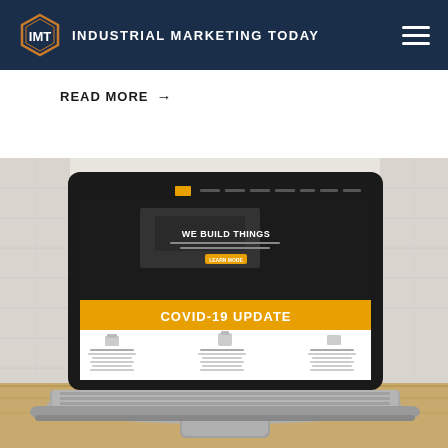INDUSTRIAL MARKETING TODAY
READ MORE →
[Figure (screenshot): Laptop on a wooden desk showing a website with 'COVID-19 UPDATE' banner in yellow/orange on a construction company website called 'WE BUILD THINGS']